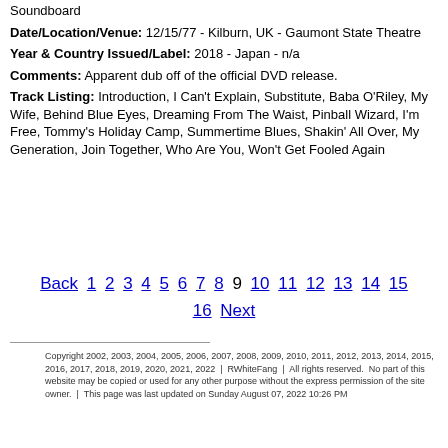Soundboard
Date/Location/Venue: 12/15/77 - Kilburn, UK - Gaumont State Theatre
Year & Country Issued/Label: 2018 - Japan - n/a
Comments: Apparent dub off of the official DVD release.
Track Listing: Introduction, I Can't Explain, Substitute, Baba O'Riley, My Wife, Behind Blue Eyes, Dreaming From The Waist, Pinball Wizard, I'm Free, Tommy's Holiday Camp, Summertime Blues, Shakin' All Over, My Generation, Join Together, Who Are You, Won't Get Fooled Again
Back 1 2 3 4 5 6 7 8 9 10 11 12 13 14 15 16 Next
Copyright 2002, 2003, 2004, 2005, 2006, 2007, 2008, 2009, 2010, 2011, 2012, 2013, 2014, 2015, 2016, 2017, 2018, 2019, 2020, 2021, 2022 | RWhiteFang | All rights reserved. No part of this website may be copied or used for any other purpose without the express permission of the site owner. | This page was last updated on Sunday August 07, 2022 10:26 PM